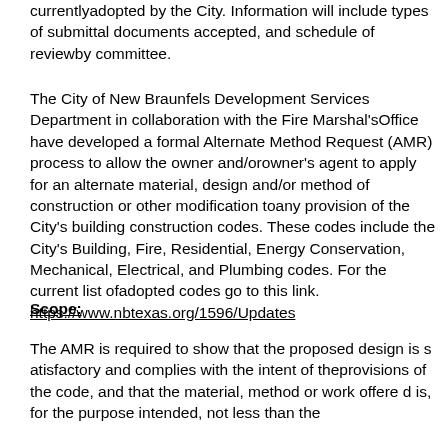currentlyadopted by the City. Information will include types of submittal documents accepted, and schedule of reviewby committee.
The City of New Braunfels Development Services Department in collaboration with the Fire Marshal'sOffice have developed a formal Alternate Method Request (AMR) process to allow the owner and/orowner's agent to apply for an alternate material, design and/or method of construction or other modification toany provision of the City's building construction codes. These codes include the City's Building, Fire, Residential, Energy Conservation, Mechanical, Electrical, and Plumbing codes. For the current list ofadopted codes go to this link. https://www.nbtexas.org/1596/Updates
Scope:
The AMR is required to show that the proposed design is satisfactory and complies with the intent of theprovisions of the code, and that the material, method or work offered is, for the purpose intended, not less than the